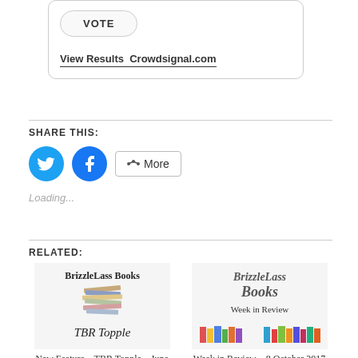[Figure (screenshot): VOTE button widget with View Results and Crowdsignal.com link]
View Results  Crowdsignal.com
SHARE THIS:
[Figure (infographic): Twitter and Facebook circular share buttons, plus a More button]
Loading...
RELATED:
[Figure (screenshot): BrizzleLass Books TBR Topple book cover image]
New Feature – TBR Topple – June
[Figure (screenshot): BrizzleLass Books Week in Review cover image with books]
Week in Review – 8 October 2017